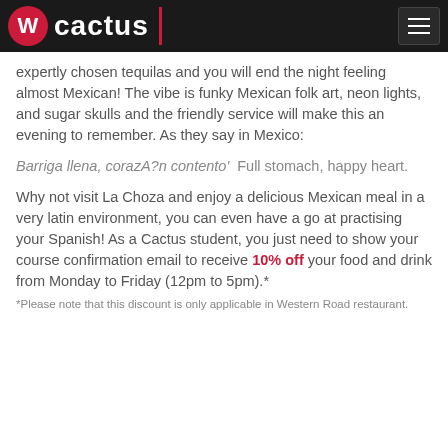cactus
expertly chosen tequilas and you will end the night feeling almost Mexican! The vibe is funky Mexican folk art, neon lights, and sugar skulls and the friendly service will make this an evening to remember. As they say in Mexico:
Barriga llena, corazA?n contento'  Full stomach, happy heart.
Why not visit La Choza and enjoy a delicious Mexican meal in a very latin environment, you can even have a go at practising your Spanish! As a Cactus student, you just need to show your course confirmation email to receive 10% off your food and drink from Monday to Friday (12pm to 5pm).*
*Please note that this discount is only applicable in Western Road restaurant.